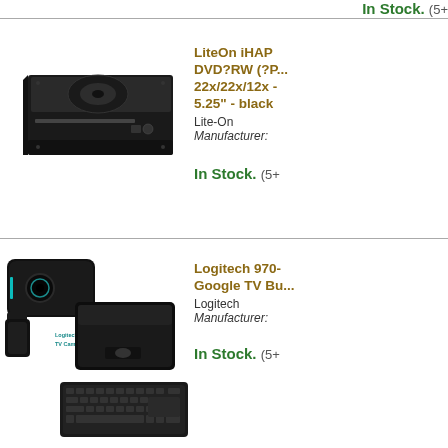In Stock. (5+
[Figure (photo): LiteOn iHAP DVD-RW optical disc drive, black, 5.25 inch form factor]
LiteOn iHAP DVD?RW (?P... 22x/22x/12x - 5.25" - black
Lite-On
Manufacturer:
In Stock. (5+
[Figure (photo): Logitech Revue & TV Cam Bundle - Google TV Bundle, includes camera, remote, and keyboard]
Logitech 970- Google TV Bu... Logitech
Manufacturer:
In Stock. (5+